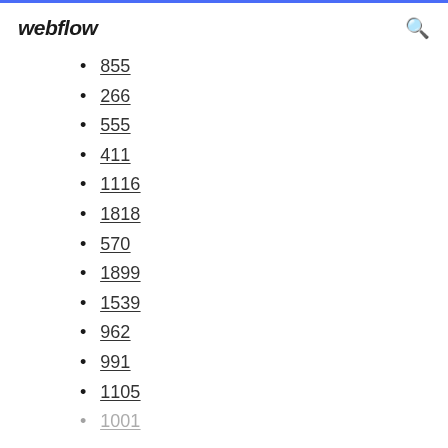webflow
855
266
555
411
1116
1818
570
1899
1539
962
991
1105
1001